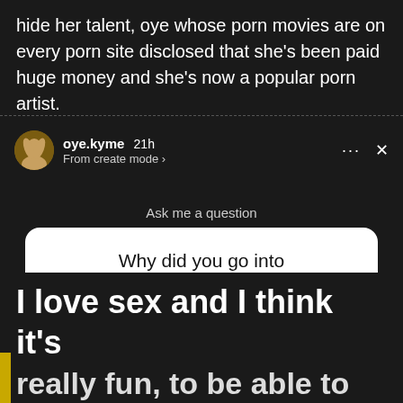hide her talent, oye whose porn movies are on every porn site disclosed that she's been paid huge money and she's now a popular porn artist.
oye.kyme 21h
From create mode >
Ask me a question
Why did you go into pornography?
I like it tho, just want to know y?
I love sex and I think it's
really fun, to be able to